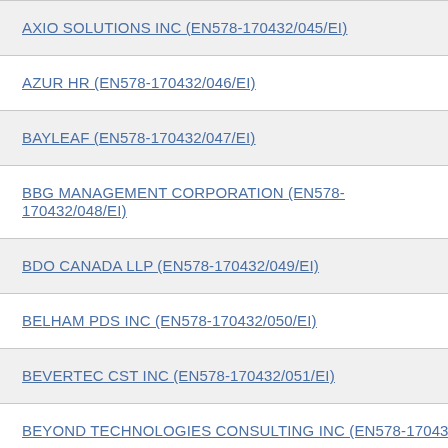AXIO SOLUTIONS INC (EN578-170432/045/EI)
AZUR HR (EN578-170432/046/EI)
BAYLEAF (EN578-170432/047/EI)
BBG MANAGEMENT CORPORATION (EN578-170432/048/EI)
BDO CANADA LLP (EN578-170432/049/EI)
BELHAM PDS INC (EN578-170432/050/EI)
BEVERTEC CST INC (EN578-170432/051/EI)
BEYOND TECHNOLOGIES CONSULTING INC (EN578-170432/05…)
BIR CONSULTING INC (EN578-170432/053/EI)